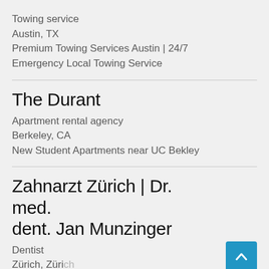Towing service
Austin, TX
Premium Towing Services Austin | 24/7 Emergency Local Towing Service
The Durant
Apartment rental agency
Berkeley, CA
New Student Apartments near UC Bekley
Zahnarzt Zürich | Dr. med. dent. Jan Munzinger
Dentist
Zürich, Zürich